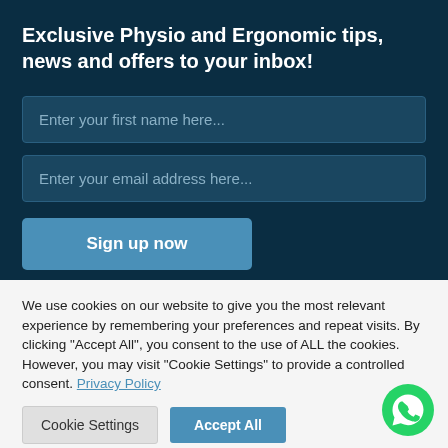Exclusive Physio and Ergonomic tips, news and offers to your inbox!
Enter your first name here...
Enter your email address here...
Sign up now
We use cookies on our website to give you the most relevant experience by remembering your preferences and repeat visits. By clicking "Accept All", you consent to the use of ALL the cookies. However, you may visit "Cookie Settings" to provide a controlled consent. Privacy Policy
Cookie Settings
Accept All